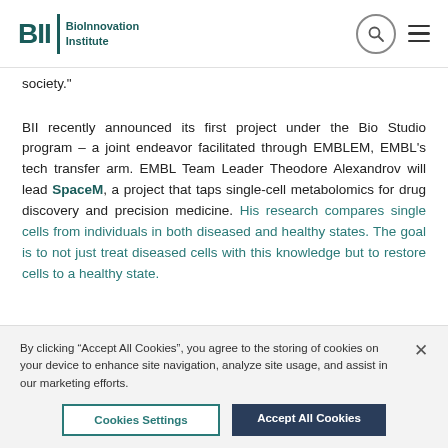BII BioInnovation Institute
society."
BII recently announced its first project under the Bio Studio program – a joint endeavor facilitated through EMBLEM, EMBL's tech transfer arm. EMBL Team Leader Theodore Alexandrov will lead SpaceM, a project that taps single-cell metabolomics for drug discovery and precision medicine. His research compares single cells from individuals in both diseased and healthy states. The goal is to not just treat diseased cells with this knowledge but to restore cells to a healthy state.
By clicking “Accept All Cookies”, you agree to the storing of cookies on your device to enhance site navigation, analyze site usage, and assist in our marketing efforts.